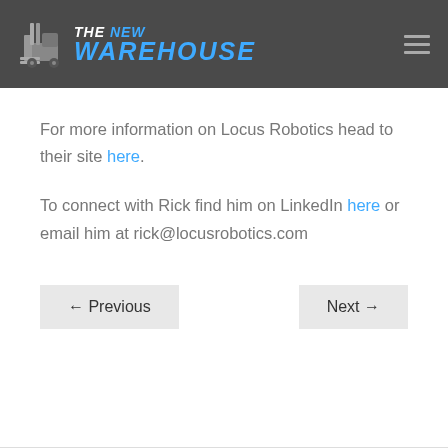[Figure (logo): The New Warehouse logo with forklift icon and blue/white text on dark grey header background]
For more information on Locus Robotics head to their site here.
To connect with Rick find him on LinkedIn here or email him at rick@locusrobotics.com
← Previous
Next →